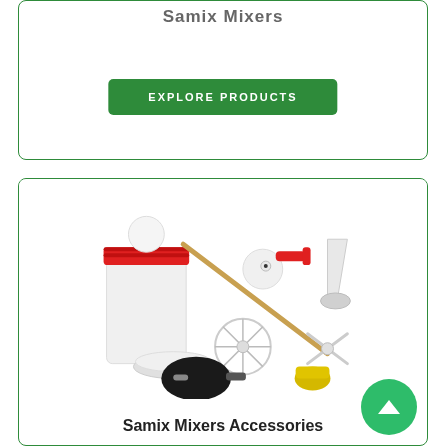Samix Mixers
EXPLORE PRODUCTS
[Figure (illustration): Various Samix mixer accessories: white canister with red lid, metal mixing rod, ball-type mixer valve, cone/funnel tip, circular impeller, pneumatic bulb, cross-blade impeller, yellow cap]
Samix Mixers Accessories